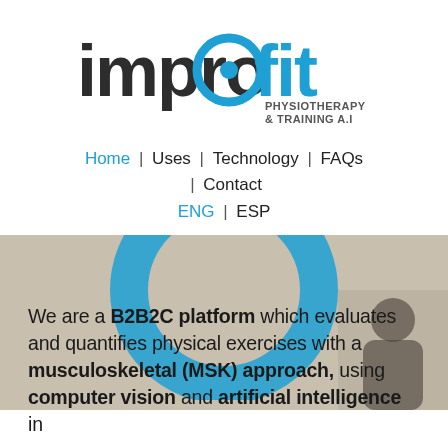[Figure (logo): improfit logo with 'PHYSIOTHERAPY & TRAINING A.I' subtitle. 'impro' in dark grey/black rounded font, 'fit' in blue, with a blue circle/target icon replacing the 'o'.]
Home  |  Uses  |  Technology  |  FAQs  |  Contact
ENG | ESP
[Figure (illustration): Beige/tan background with large blue circular ring/target graphic and a partial photo of a person in the lower right area.]
We are a B2B2C platform which evaluates and quantifies physical exercises with a musculoskeletal (MSK) approach, using computer vision and artificial intelligence in